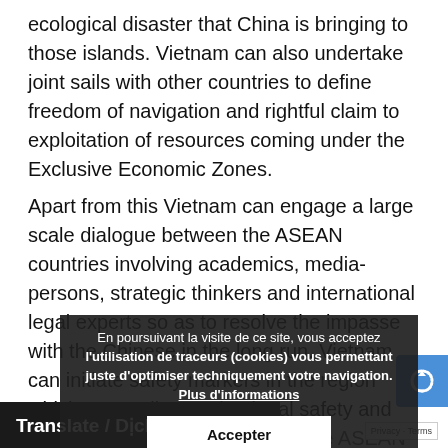ecological disaster that China is bringing to those islands. Vietnam can also undertake joint sails with other countries to define freedom of navigation and rightful claim to exploitation of resources coming under the Exclusive Economic Zones.
Apart from this Vietnam can engage a large scale dialogue between the ASEAN countries involving academics, media-persons, strategic thinkers and international legal experts so as to resolve the impasse with the Chinese in the long run. Vietnam can initiate safety markers in the region which can outline navigational safety and ensure safe passage of ships. The ASEAN countries could develop and synchronise their historical narrative so as to expose Chinese history in this context. With regards to extended continental shelf there is need for dialogue at the multilateral platforms s UNSC and also initiate a... during the ...ernational sea bed authority.
En poursuivant la visite de ce site, vous acceptez l'utilisation de traceurs (cookies) vous permettant juste d'optimiser techniquement votre navigation. Plus d'informations [Accepter]
Translate / Dịch